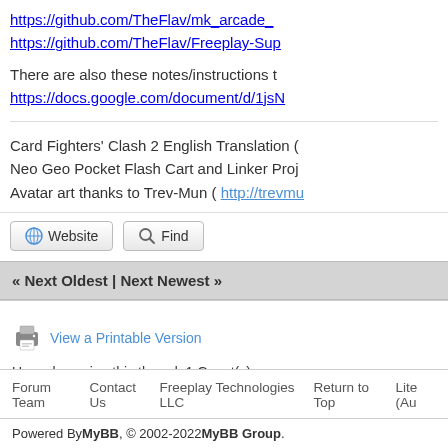https://github.com/TheFlav/mk_arcade_
https://github.com/TheFlav/Freeplay-Sup
There are also these notes/instructions t
https://docs.google.com/document/d/1jsN
Card Fighters' Clash 2 English Translation (
Neo Geo Pocket Flash Cart and Linker Proj
Avatar art thanks to Trev-Mun ( http://trevmu
Website  Find
« Next Oldest | Next Newest »
View a Printable Version
Users browsing this thread: 1 Guest(s)
Forum Team   Contact Us   Freeplay Technologies LLC   Return to Top   Lite (Au
Powered By MyBB, © 2002-2022 MyBB Group.